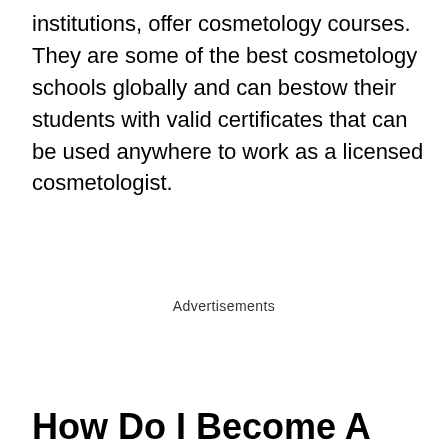institutions, offer cosmetology courses. They are some of the best cosmetology schools globally and can bestow their students with valid certificates that can be used anywhere to work as a licensed cosmetologist.
Advertisements
How Do I Become A